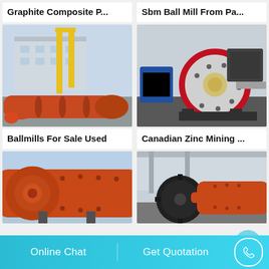Graphite Composite P...
[Figure (photo): Orange industrial ball mills / rotary kilns in a factory yard with yellow crane in background]
Sbm Ball Mill From Pa...
[Figure (photo): Large ball mill with red and black flywheel in an industrial facility]
Ballmills For Sale Used
[Figure (photo): Orange ball mill equipment close-up outdoors]
Canadian Zinc Mining ...
[Figure (photo): Orange ball mill with large gear wheel in industrial building]
Online Chat    Get Quotation